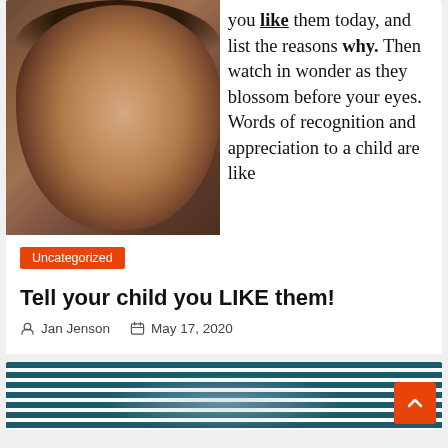[Figure (photo): Blog post card showing a smiling young child on the left half and overlaid text on the right half reading: 'you like them today, and list the reasons why. Then watch in wonder as they blossom before your eyes. Words of recognition and appreciation to a child are like']
Uncategorized
Tell your child you LIKE them!
Jan Jenson   May 17, 2020
[Figure (photo): Partial view of a second blog post card showing a teal/white striped pattern, with an orange scroll-to-top button in the bottom right corner]